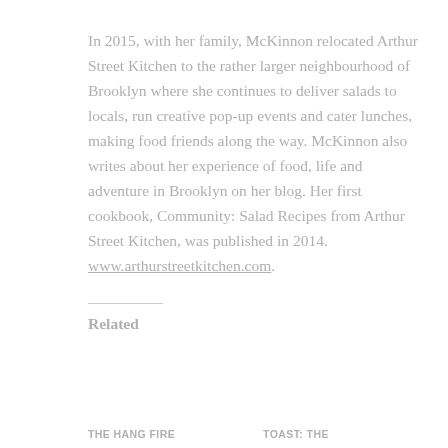In 2015, with her family, McKinnon relocated Arthur Street Kitchen to the rather larger neighbourhood of Brooklyn where she continues to deliver salads to locals, run creative pop-up events and cater lunches, making food friends along the way. McKinnon also writes about her experience of food, life and adventure in Brooklyn on her blog. Her first cookbook, Community: Salad Recipes from Arthur Street Kitchen, was published in 2014. www.arthurstreetkitchen.com.
Related
THE HANG FIRE
TOAST: THE